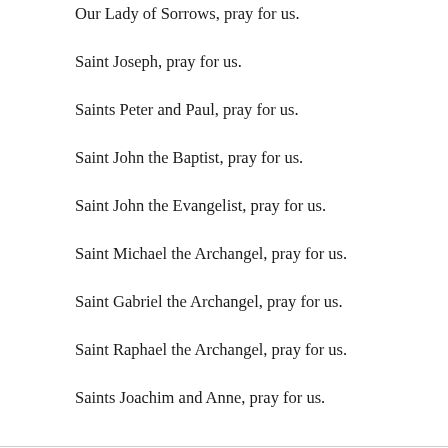Our Lady of Sorrows, pray for us.
Saint Joseph, pray for us.
Saints Peter and Paul, pray for us.
Saint John the Baptist, pray for us.
Saint John the Evangelist, pray for us.
Saint Michael the Archangel, pray for us.
Saint Gabriel the Archangel, pray for us.
Saint Raphael the Archangel, pray for us.
Saints Joachim and Anne, pray for us.